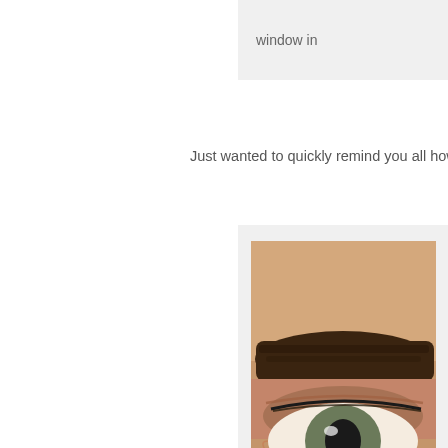window in
Just wanted to quickly remind you all how my brows looked before
[Figure (photo): Close-up photo of a human eye with a dark eyebrow, showing natural skin texture and lashes]
— Original un
So basically, after ten days I still did not have to fill in or touch my b Henna started to fade on my skin but even after 20 days there is s
This treatment would definitely be perfect in advance of a holiday e